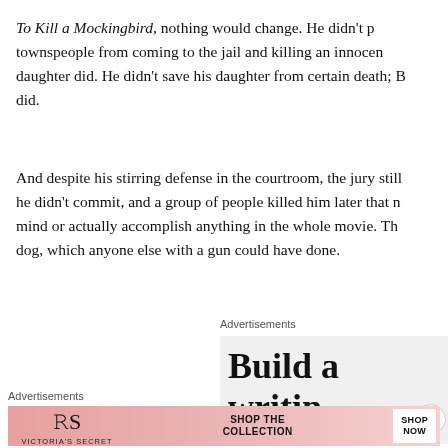To Kill a Mockingbird, nothing would change. He didn't prevent townspeople from coming to the jail and killing an innocent man's daughter did. He didn't save his daughter from certain death; B did.
And despite his stirring defense in the courtroom, the jury still he didn't commit, and a group of people killed him later that mind or actually accomplish anything in the whole movie. The dog, which anyone else with a gun could have done.
Advertisements
[Figure (screenshot): Advertisement box with text 'Build a writing habit. Post o...' in large bold serif font on light gray background, with a close (X) button overlay]
Advertisements
[Figure (screenshot): Victoria's Secret banner advertisement with pink gradient background showing a woman, VS logo, 'SHOP THE COLLECTION' text, and 'SHOP NOW' white button]